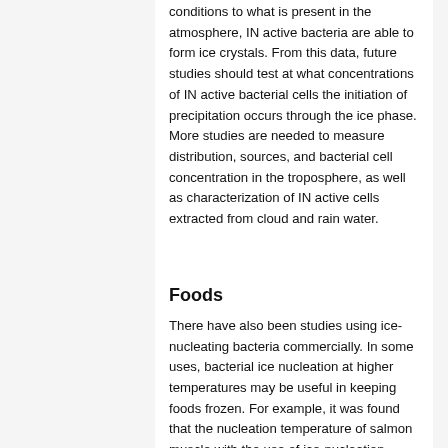conditions to what is present in the atmosphere, IN active bacteria are able to form ice crystals. From this data, future studies should test at what concentrations of IN active bacterial cells the initiation of precipitation occurs through the ice phase. More studies are needed to measure distribution, sources, and bacterial cell concentration in the troposphere, as well as characterization of IN active cells extracted from cloud and rain water.
Foods
There have also been studies using ice-nucleating bacteria commercially. In some uses, bacterial ice nucleation at higher temperatures may be useful in keeping foods frozen. For example, it was found that the nucleation temperature of salmon muscle with the use of ice-nucleation active (INA) Pseudomonas syringae was raised from -4.9 to